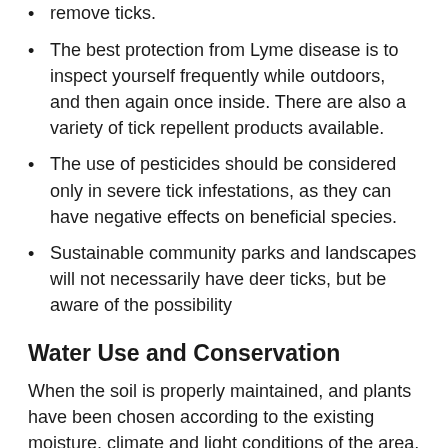remove ticks.
The best protection from Lyme disease is to inspect yourself frequently while outdoors, and then again once inside. There are also a variety of tick repellent products available.
The use of pesticides should be considered only in severe tick infestations, as they can have negative effects on beneficial species.
Sustainable community parks and landscapes will not necessarily have deer ticks, but be aware of the possibility
Water Use and Conservation
When the soil is properly maintained, and plants have been chosen according to the existing moisture, climate and light conditions of the area, little supplementary water should be needed, except for the first few years while the plants establish. In areas where water restrictions are common, or as part of a climate change adaptation plan that prepares for future